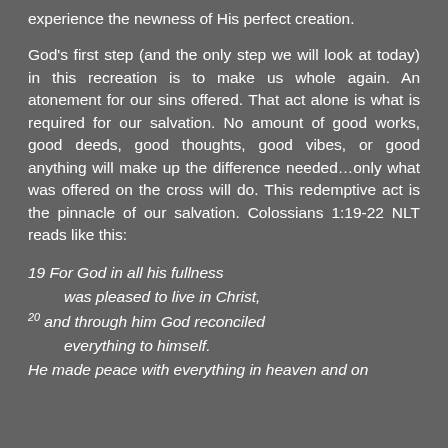experience the newness of His perfect creation.
God's first step (and the only step we will look at today) in this recreation is to make us whole again. An atonement for our sins offered. That act alone is what is required for our salvation. No amount of good works, good deeds, good thoughts, good vibes, or good anything will make up the difference needed…only what was offered on the cross will do. This redemptive act is the pinnacle of our salvation. Colossians 1:19-22 NLT reads like this:
19 For God in all his fullness
    was pleased to live in Christ,
20 and through him God reconciled
    everything to himself.
He made peace with everything in heaven and on